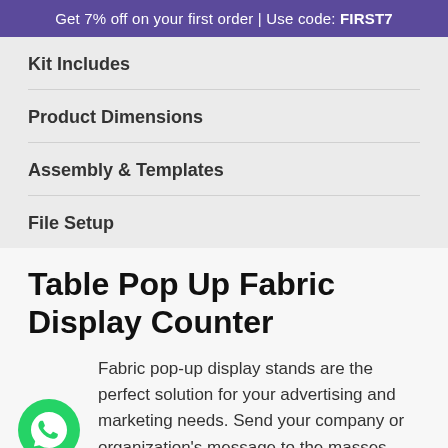Get 7% off on your first order | Use code: FIRST7
Kit Includes
Product Dimensions
Assembly & Templates
File Setup
Table Pop Up Fabric Display Counter
Fabric pop-up display stands are the perfect solution for your advertising and marketing needs. Send your company or organization's message to the masses
[Figure (logo): WhatsApp button icon - green circular button with white WhatsApp logo]